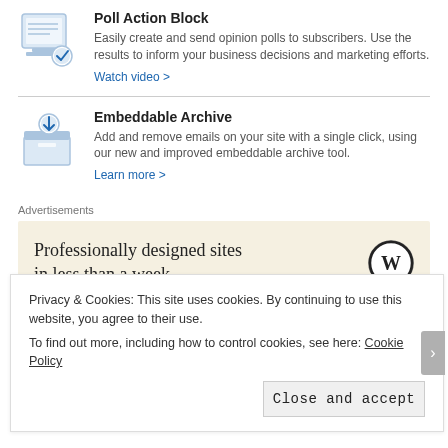Poll Action Block
Easily create and send opinion polls to subscribers. Use the results to inform your business decisions and marketing efforts.
Watch video >
Embeddable Archive
Add and remove emails on your site with a single click, using our new and improved embeddable archive tool.
Learn more >
Advertisements
[Figure (other): Advertisement banner: Professionally designed sites in less than a week, with WordPress logo]
The purpose of this email was to bring awareness to their newly implemented features. I believe that although effective, there is too
Privacy & Cookies: This site uses cookies. By continuing to use this website, you agree to their use.
To find out more, including how to control cookies, see here: Cookie Policy
Close and accept